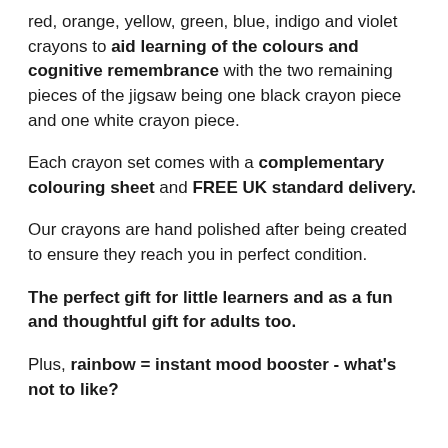red, orange, yellow, green, blue, indigo and violet crayons to aid learning of the colours and cognitive remembrance with the two remaining pieces of the jigsaw being one black crayon piece and one white crayon piece.
Each crayon set comes with a complementary colouring sheet and FREE UK standard delivery.
Our crayons are hand polished after being created to ensure they reach you in perfect condition.
The perfect gift for little learners and as a fun and thoughtful gift for adults too.
Plus, rainbow = instant mood booster - what's not to like?